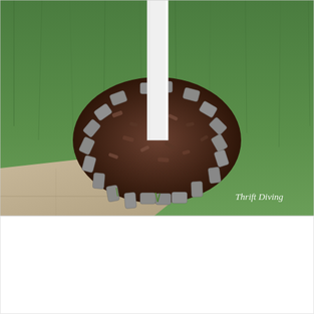[Figure (photo): Outdoor photograph showing a white post/pole in the center, surrounded by a circular border of gray concrete paving stones/bricks arranged in a ring. Inside the ring is dark brown mulch. The area is set in a green grass lawn, with a concrete sidewalk or driveway edge visible in the lower left. A watermark 'Thrift Diving' appears in white text in the lower right corner of the image.]